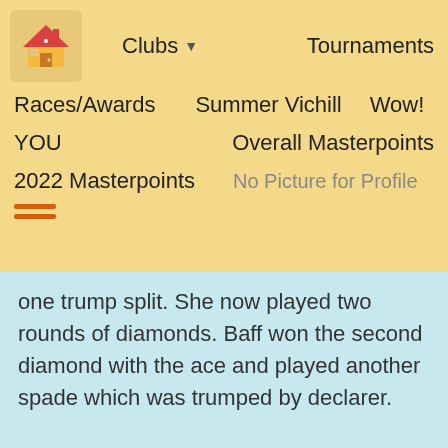Clubs ▼   Tournaments
Races/Awards   Summer Vichill   Wow!
YOU   Overall Masterpoints
2022 Masterpoints   No Picture for Profile
[Figure (other): Hamburger menu icon with two orange horizontal lines]
one trump split. She now played two rounds of diamonds. Baff won the second diamond with the ace and played another spade which was trumped by declarer.